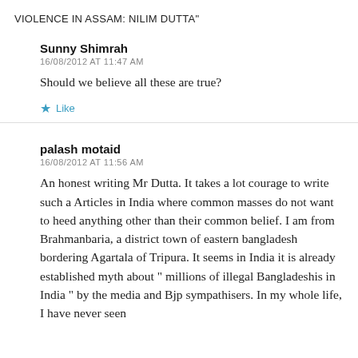VIOLENCE IN ASSAM: NILIM DUTTA"
Sunny Shimrah
16/08/2012 AT 11:47 AM
Should we believe all these are true?
Like
palash motaid
16/08/2012 AT 11:56 AM
An honest writing Mr Dutta. It takes a lot courage to write such a Articles in India where common masses do not want to heed anything other than their common belief. I am from Brahmanbaria, a district town of eastern bangladesh bordering Agartala of Tripura. It seems in India it is already established myth about “ millions of illegal Bangladeshis in India ” by the media and Bjp sympathisers. In my whole life, I have never seen